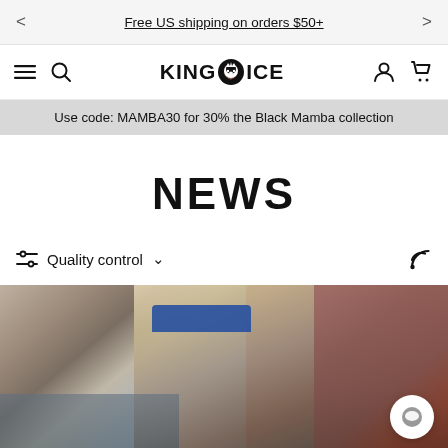< Free US shipping on orders $50+ >
[Figure (logo): King Ice logo with lion head icon between KING and ICE text]
Use code: MAMBA30 for 30% the Black Mamba collection
NEWS
Quality control ∨
[Figure (photo): Street photo of person wearing a blue cap and floral hoodie, outdoors in urban setting]